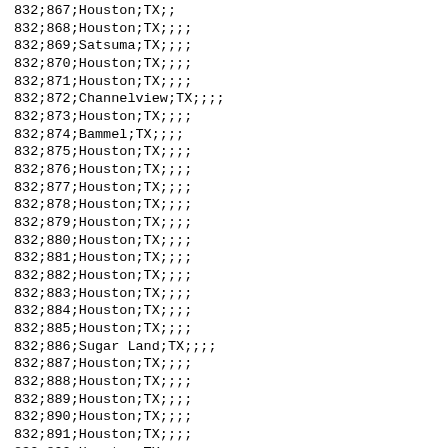832;867;Houston;TX;;;;
832;868;Houston;TX;;;;
832;869;Satsuma;TX;;;;
832;870;Houston;TX;;;;
832;871;Houston;TX;;;;
832;872;Channelview;TX;;;;
832;873;Houston;TX;;;;
832;874;Bammel;TX;;;;
832;875;Houston;TX;;;;
832;876;Houston;TX;;;;
832;877;Houston;TX;;;;
832;878;Houston;TX;;;;
832;879;Houston;TX;;;;
832;880;Houston;TX;;;;
832;881;Houston;TX;;;;
832;882;Houston;TX;;;;
832;883;Houston;TX;;;;
832;884;Houston;TX;;;;
832;885;Houston;TX;;;;
832;886;Sugar Land;TX;;;;
832;887;Houston;TX;;;;
832;888;Houston;TX;;;;
832;889;Houston;TX;;;;
832;890;Houston;TX;;;;
832;891;Houston;TX;;;;
832;892;Houston;TX;;;;
832;893;Houston;TX;;;;
832;894;Houston;TX;;;;
832;895;Friendswood;TX;;;;
832;896;Houston;TX;;;;
832;897;Stafford;TX;;;;